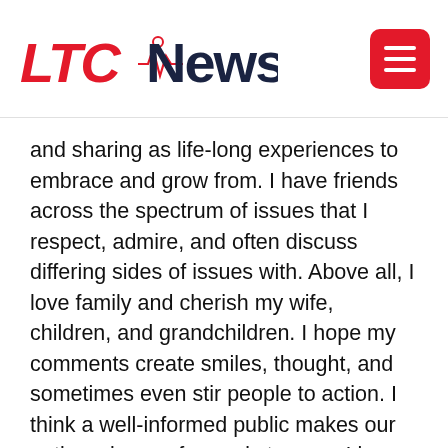LTC News
and sharing as life-long experiences to embrace and grow from. I have friends across the spectrum of issues that I respect, admire, and often discuss differing sides of issues with. Above all, I love family and cherish my wife, children, and grandchildren. I hope my comments create smiles, thought, and sometimes even stir people to action. I think a well-informed public makes our nation wiser, safer, and stronger. I love our country, rejoice in her greatness, and am proud of her efforts to constantly move forward to be better. The victories along the way to